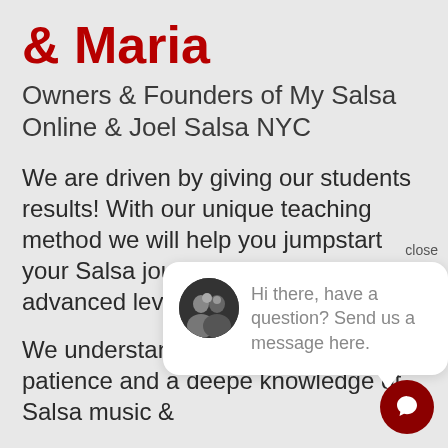& Maria
Owners & Founders of My Salsa Online & Joel Salsa NYC
We are driven by giving our students results! With our unique teaching method we will help you jumpstart your Salsa journey and advance to an advanced level.
[Figure (screenshot): Chat popup overlay with avatar image and text: 'Hi there, have a question? Send us a message here.' with a close label and a dark red chat icon button]
We understand teaching requires patience and a deeper knowledge of Salsa music &